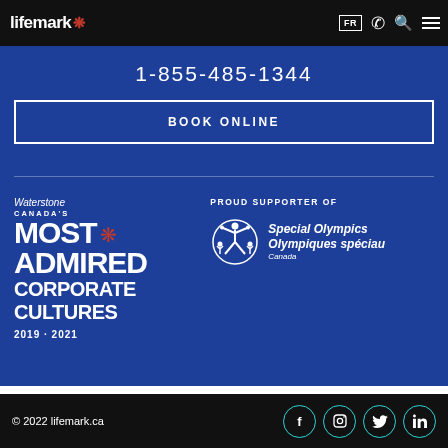lifemark FR
1-855-485-1344
BOOK ONLINE
[Figure (logo): Waterstone Canada's Most Admired Corporate Cultures 2019 · 2021 logo with maple leaf]
[Figure (logo): Proud Supporter of Special Olympics Olympiques spéciaux Canada logo]
© 2022 lifemark.ca